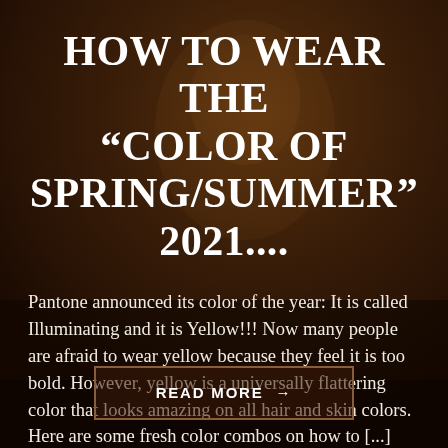[Figure (photo): Dark warm-toned background photo of a person, heavily overlaid with dark brown/amber tones, serving as the page background for a fashion blog post.]
HOW TO WEAR THE “COLOR OF SPRING/SUMMER” 2021....
Pantone announced its color of the year: It is called Illuminating and it is Yellow!!! Now many people are afraid to wear yellow because they feel it is too bold. However, yellow is a universally flattering color that looks amazing on all hair and skin colors. Here are some fresh color combos on how to [...]
READ MORE  →